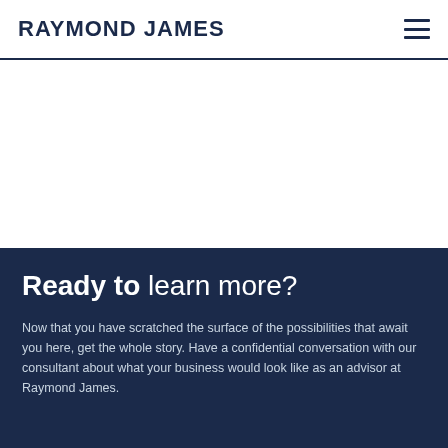RAYMOND JAMES
Ready to learn more?
Now that you have scratched the surface of the possibilities that await you here, get the whole story. Have a confidential conversation with our consultant about what your business would look like as an advisor at Raymond James.